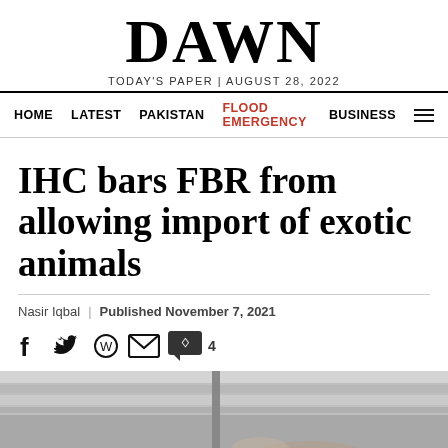DAWN
TODAY'S PAPER | AUGUST 28, 2022
HOME   LATEST   PAKISTAN   FLOOD EMERGENCY   BUSINESS
IHC bars FBR from allowing import of exotic animals
Nasir Iqbal | Published November 7, 2021
[Figure (photo): Article photograph showing an animal, partially visible at the bottom of the page]